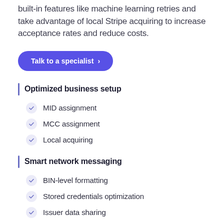built-in features like machine learning retries and take advantage of local Stripe acquiring to increase acceptance rates and reduce costs.
[Figure (other): Purple rounded button with text 'Talk to a specialist >']
Optimized business setup
MID assignment
MCC assignment
Local acquiring
Smart network messaging
BIN-level formatting
Stored credentials optimization
Issuer data sharing